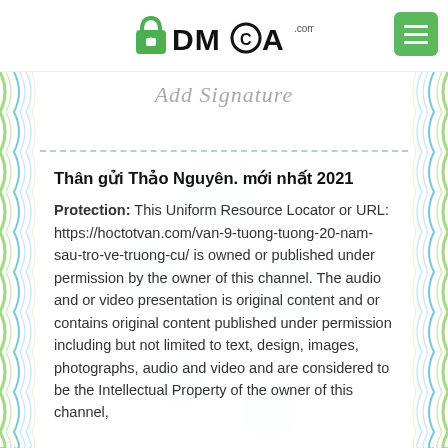[Figure (logo): DMCA.com logo with padlock icon and text DMCA with .com superscript]
[Figure (other): Green hamburger menu button (three white lines on green rounded rectangle)]
Add Signature
Thân gửi Thảo Nguyên. mới nhất 2021
Protection: This Uniform Resource Locator or URL: https://hoctotvan.com/van-9-tuong-tuong-20-nam-sau-tro-ve-truong-cu/ is owned or published under permission by the owner of this channel. The audio and or video presentation is original content and or contains original content published under permission including but not limited to text, design, images, photographs, audio and video and are considered to be the Intellectual Property of the owner of this channel,